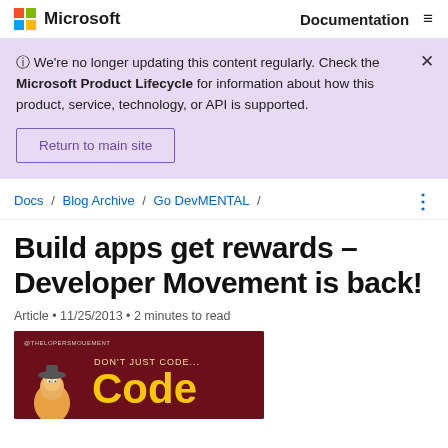Microsoft  Documentation
We're no longer updating this content regularly. Check the Microsoft Product Lifecycle for information about how this product, service, technology, or API is supported.
Return to main site
Docs / Blog Archive / Go DevMENTAL /
Build apps get rewards – Developer Movement is back!
Article • 11/25/2013 • 2 minutes to read
[Figure (photo): Developer Movement promotional banner with dark red background showing the text 'DON'T JUST CODE... Code' in yellow and a cartoon character]